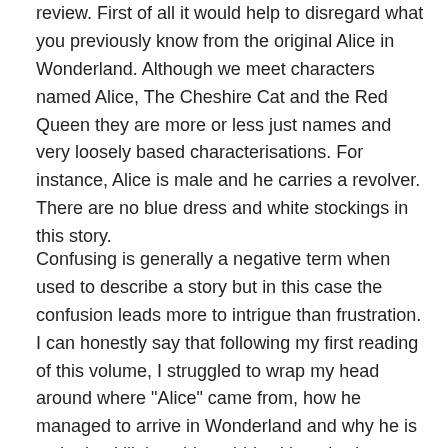review. First of all it would help to disregard what you previously know from the original Alice in Wonderland. Although we meet characters named Alice, The Cheshire Cat and the Red Queen they are more or less just names and very loosely based characterisations. For instance, Alice is male and he carries a revolver. There are no blue dress and white stockings in this story.
Confusing is generally a negative term when used to describe a story but in this case the confusion leads more to intrigue than frustration. I can honestly say that following my first reading of this volume, I struggled to wrap my head around where "Alice" came from, how he managed to arrive in Wonderland and why he is tasked to kill the white rabbit with a six shooter. But after asking myself these questions, I realised that "Alice" himself didn't know the answers to these questions either! It was a real Bastian/Atreyu moment. In realising this I found that I was actually being taken for a ride of self discovery with the main character. A voyage to